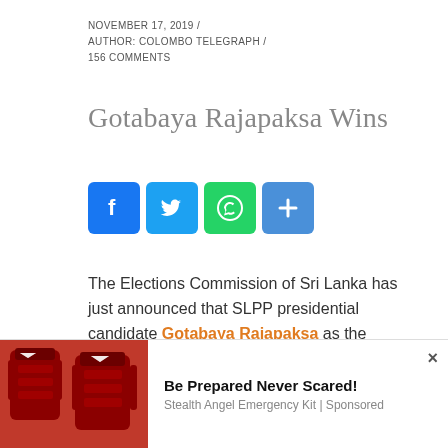NOVEMBER 17, 2019 / AUTHOR: COLOMBO TELEGRAPH / 156 COMMENTS
Gotabaya Rajapaksa Wins
[Figure (infographic): Social share buttons: Facebook (blue), Twitter (light blue), WhatsApp (green), Share/Plus (blue)]
The Elections Commission of Sri Lanka has just announced that SLPP presidential candidate Gotabaya Rajapaksa as the seventh President of Sri Lanka.
[Figure (infographic): Advertisement banner: Red emergency backpacks image on left. Text: 'Be Prepared Never Scared!' with 'Stealth Angel Emergency Kit | Sponsored' below. Close button X on top right.]